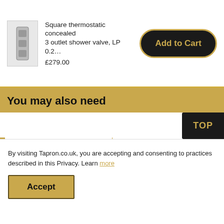[Figure (photo): Small product thumbnail image of a square thermostatic concealed shower valve]
Square thermostatic concealed 3 outlet shower valve, LP 0.2...
£279.00
Add to Cart
You may also need
Save £31.40
Save £30.60
By visiting Tapron.co.uk, you are accepting and consenting to practices described in this Privacy. Learn more
Accept
TOP